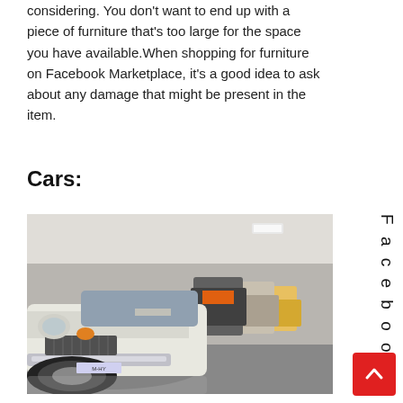considering. You don't want to end up with a piece of furniture that's too large for the space you have available.When shopping for furniture on Facebook Marketplace, it's a good idea to ask about any damage that might be present in the item.
Cars:
[Figure (photo): A row of classic vintage cars parked in a modern showroom or garage, viewed from a low front angle. The foreground shows a white classic car with chrome bumper and amber turn signal.]
Facebook